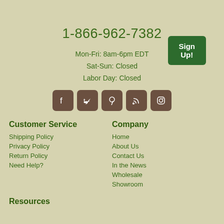Sign Up!
1-866-962-7382
Mon-Fri: 8am-6pm EDT
Sat-Sun: Closed
Labor Day: Closed
[Figure (other): Social media icons: Facebook, Twitter, Pinterest, RSS, Instagram]
Customer Service
Company
Shipping Policy
Home
Privacy Policy
About Us
Return Policy
Contact Us
Need Help?
In the News
Wholesale
Showroom
Resources